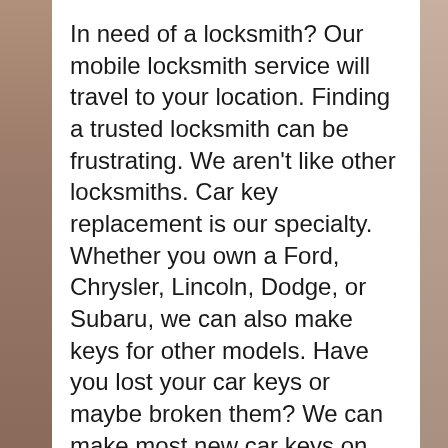In need of a locksmith? Our mobile locksmith service will travel to your location. Finding a trusted locksmith can be frustrating. We aren't like other locksmiths. Car key replacement is our specialty. Whether you own a Ford, Chrysler, Lincoln, Dodge, or Subaru, we can also make keys for other models. Have you lost your car keys or maybe broken them? We can make most new car keys on the spot.
Every car that we unlock will be checked to ensure that it can be re-enabled. Our staff will also check the door before it is re-activated to ensure that all the re-locking mechanism is functioning properly. We'll give you our honest